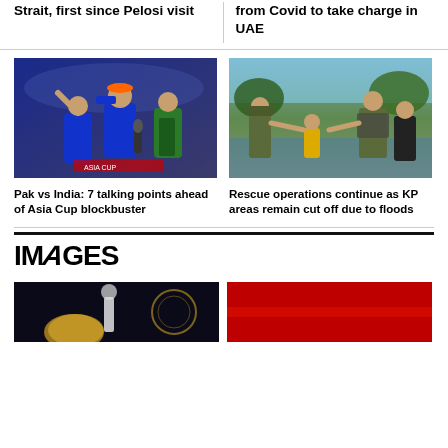Strait, first since Pelosi visit
from Covid to take charge in UAE
[Figure (photo): Cricket players on field, India vs Pakistan Asia Cup match]
Pak vs India: 7 talking points ahead of Asia Cup blockbuster
[Figure (photo): Soldiers helping civilians during flood rescue operations in KP, Pakistan]
Rescue operations continue as KP areas remain cut off due to floods
IMAGES
[Figure (photo): Dark background with figure, bottom strip left]
[Figure (photo): Red background image, bottom strip right]